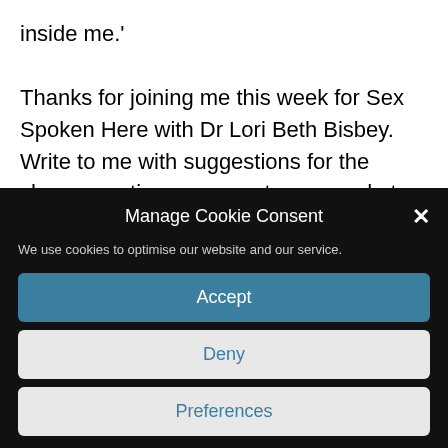inside me.'
Thanks for joining me this week for Sex Spoken Here with Dr Lori Beth Bisbey.  Write to me with suggestions for the show, questions you want answered at
[Figure (screenshot): Cookie consent modal overlay with dark background. Title: 'Manage Cookie Consent' with an X close button. Text: 'We use cookies to optimise our website and our service.' Three buttons: Accept (blue), Deny (light/grey), Preferences (light/grey).]